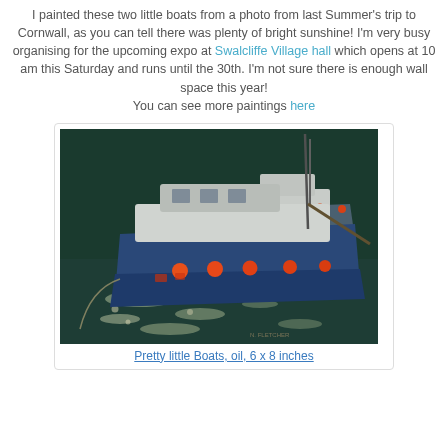I painted these two little boats from a photo from last Summer's trip to Cornwall, as you can tell there was plenty of bright sunshine! I'm very busy organising for the upcoming expo at Swalcliffe Village hall which opens at 10 am this Saturday and runs until the 30th. I'm not sure there is enough wall space this year! You can see more paintings here
[Figure (photo): Oil painting of two blue fishing boats moored on shimmering water with orange buoys and masts, painted in impressionistic style with bright highlights.]
Pretty little Boats, oil, 6 x 8 inches